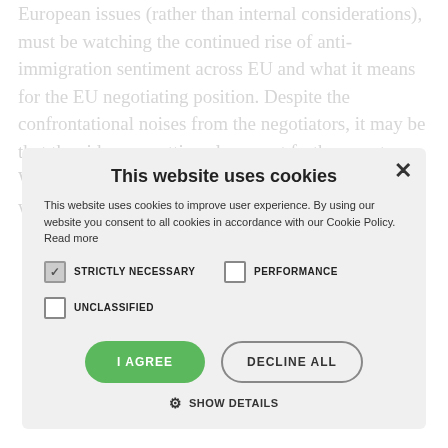European issues (rather than internal considerations), must be watching the continued rise of anti-immigration sentiment across EU and what it means for the EU negotiating position. Despite the confrontational noises from the negotiators, it may be that the sides are getting closer, not further apart. We'll have more to say on this in the next couple of weeks.
[Figure (screenshot): Cookie consent modal dialog overlaid on article text. Title: 'This website uses cookies'. Body text: 'This website uses cookies to improve user experience. By using our website you consent to all cookies in accordance with our Cookie Policy. Read more'. Checkboxes: STRICTLY NECESSARY (checked), PERFORMANCE (unchecked), UNCLASSIFIED (unchecked). Buttons: I AGREE (green), DECLINE ALL (outline). Show Details link at bottom.]